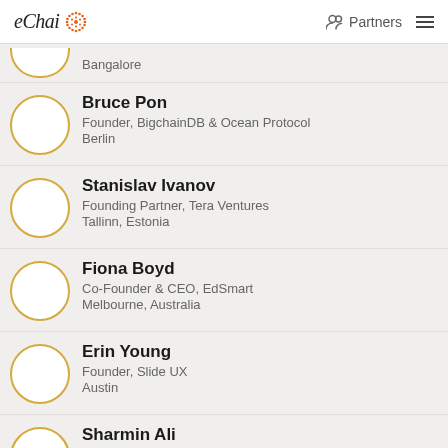eChai | Partners
Bangalore
Bruce Pon
Founder, BigchainDB & Ocean Protocol
Berlin
Stanislav Ivanov
Founding Partner, Tera Ventures
Tallinn, Estonia
Fiona Boyd
Co-Founder & CEO, EdSmart
Melbourne, Australia
Erin Young
Founder, Slide UX
Austin
Sharmin Ali
Founder & CEO, Instoried
Bengaluru, India
Ketevan Meparishvili